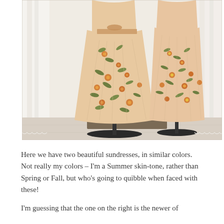[Figure (photo): Two floral sundresses with orange, yellow, and green flower print on a light peach/cream background, displayed on mannequin stands in front of white curtains. The dress on the left is fuller/wider, and the one on the right is narrower. Both have a vintage 1950s-style full skirt.]
Here we have two beautiful sundresses, in similar colors.  Not really my colors – I'm a Summer skin-tone, rather than Spring or Fall, but who's going to quibble when faced with these!
I'm guessing that the one on the right is the newer of